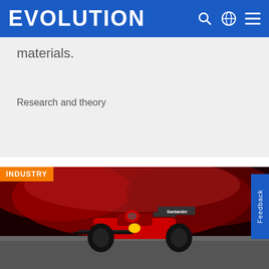EVOLUTION
materials.
Research and theory
[Figure (photo): Ferrari Formula 1 racing car on track with red smoke in the background, Santander livery visible on the car wing]
INDUSTRY
Feedback